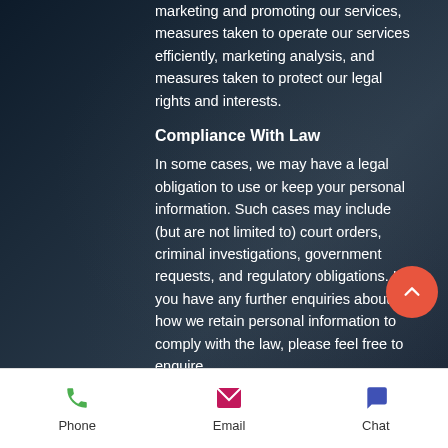marketing and promoting our services, measures taken to operate our services efficiently, marketing analysis, and measures taken to protect our legal rights and interests.
Compliance With Law
In some cases, we may have a legal obligation to use or keep your personal information. Such cases may include (but are not limited to) court orders, criminal investigations, government requests, and regulatory obligations. If you have any further enquiries about how we retain personal information to comply with the law, please feel free to enquire
Phone   Email   Chat